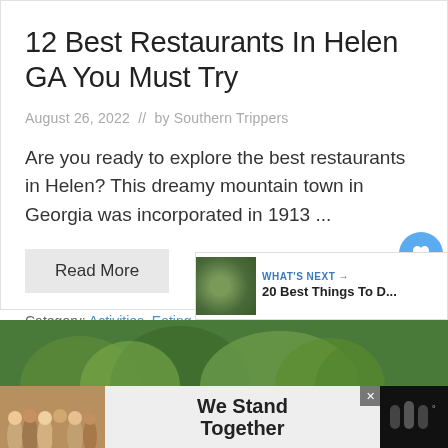12 Best Restaurants In Helen GA You Must Try
August 26, 2022  //  by Southern Trippers
Are you ready to explore the best restaurants in Helen? This dreamy mountain town in Georgia was incorporated in 1913 ...
Read More
Category: Activities, Eating And Drinking, Georgia, States
[Figure (photo): Nature photo strip showing forest/trees]
[Figure (photo): Advertisement banner: We Stand Together with group photo and logo]